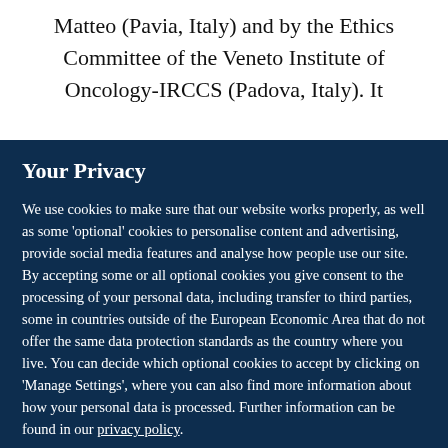Matteo (Pavia, Italy) and by the Ethics Committee of the Veneto Institute of Oncology-IRCCS (Padova, Italy). It was conducted according to the Declaration of Helsinki
Your Privacy
We use cookies to make sure that our website works properly, as well as some ‘optional’ cookies to personalise content and advertising, provide social media features and analyse how people use our site. By accepting some or all optional cookies you give consent to the processing of your personal data, including transfer to third parties, some in countries outside of the European Economic Area that do not offer the same data protection standards as the country where you live. You can decide which optional cookies to accept by clicking on ‘Manage Settings’, where you can also find more information about how your personal data is processed. Further information can be found in our privacy policy.
Accept all cookies
Manage preferences